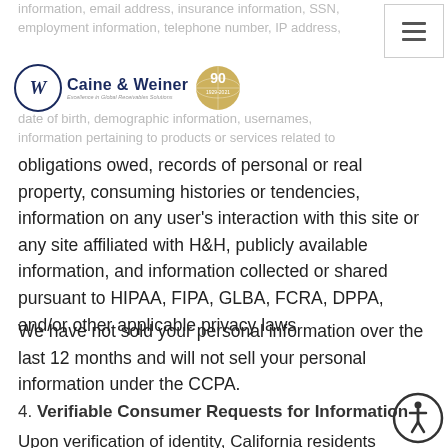information, email address, insurance information, SSN, employment information, telephone number, IP address, date of birth, demographic information, usernames, information pertaining to products or services related to
[Figure (logo): Caine & Weiner 90th anniversary logo with circular emblem and globe]
obligations owed, records of personal or real property, consuming histories or tendencies, information on any user's interaction with this site or any site affiliated with H&H, publicly available information, and information collected or shared pursuant to HIPAA, FIPA, GLBA, FCRA, DPPA, and/or other applicable privacy laws
We have not sold your personal information over the last 12 months and will not sell your personal information under the CCPA.
4. Verifiable Consumer Requests for Information
Upon verification of identity, California residents may in